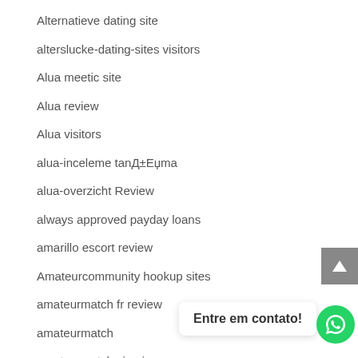Alternatieve dating site
alterslucke-dating-sites visitors
Alua meetic site
Alua review
Alua visitors
alua-inceleme tanД±Еџma
alua-overzicht Review
always approved payday loans
amarillo escort review
Amateurcommunity hookup sites
amateurmatch fr review
amateurmatch
amateurmatch sign in